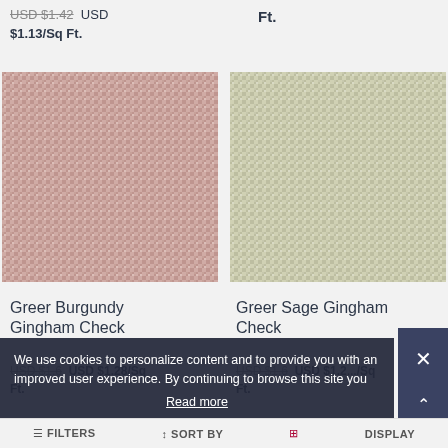USD $1.42  USD $1.13/Sq Ft.
Ft.
[Figure (photo): Greer Burgundy Gingham Check fabric swatch - small pink/red gingham check pattern]
[Figure (photo): Greer Sage Gingham Check fabric swatch - small sage/green gingham check pattern]
Greer Burgundy Gingham Check
Greer Sage Gingham Check
USD $1.6  USD $1.28/Sq Ft.
USD $1.6  USD $1.28/Sq Ft.
We use cookies to personalize content and to provide you with an improved user experience. By continuing to browse this site you
Read more
FILTERS   SORT BY   DISPLAY